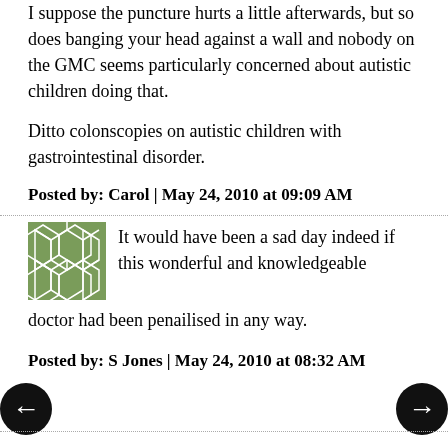I suppose the puncture hurts a little afterwards, but so does banging your head against a wall and nobody on the GMC seems particularly concerned about autistic children doing that.
Ditto colonscopies on autistic children with gastrointestinal disorder.
Posted by: Carol | May 24, 2010 at 09:09 AM
[Figure (illustration): Green square avatar with white geometric/honeycomb pattern]
It would have been a sad day indeed if this wonderful and knowledgeable doctor had been penailised in any way.
Posted by: S Jones | May 24, 2010 at 08:32 AM